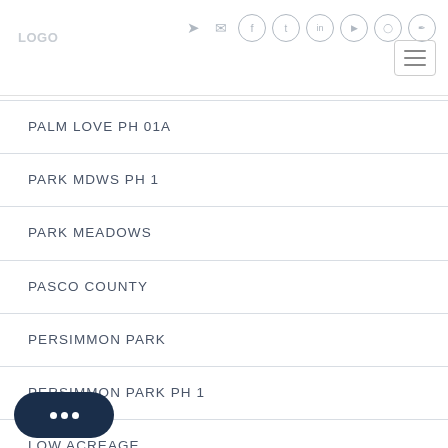Navigation header with social icons and hamburger menu
PALM LOVE PH 01A
PARK MDWS PH 1
PARK MEADOWS
PASCO COUNTY
PERSIMMON PARK
PERSIMMON PARK PH 1
LOW ACREAGE